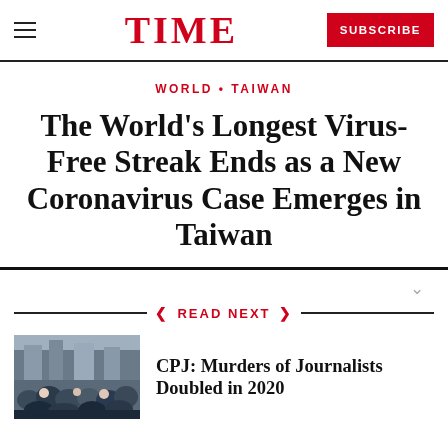TIME | SUBSCRIBE
WORLD • TAIWAN
The World's Longest Virus-Free Streak Ends as a New Coronavirus Case Emerges in Taiwan
READ NEXT
[Figure (photo): Crowd of people at a gathering or protest, used as thumbnail for the 'CPJ: Murders of Journalists Doubled in 2020' article]
CPJ: Murders of Journalists Doubled in 2020